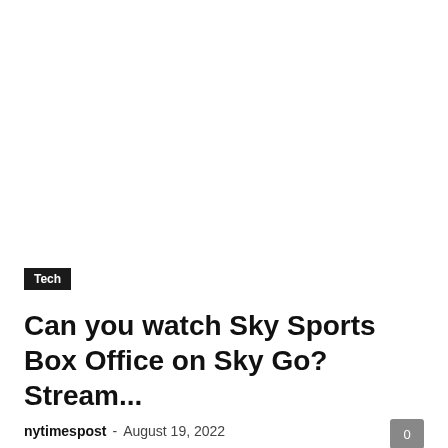Tech
Can you watch Sky Sports Box Office on Sky Go? Stream...
nytimespost  -  August 19, 2022
Sky Sports Box Office is the only place to watch the must-see rematch between Anthony Joshua and Oleksandr Usyk in Saudi Arabia. Even...